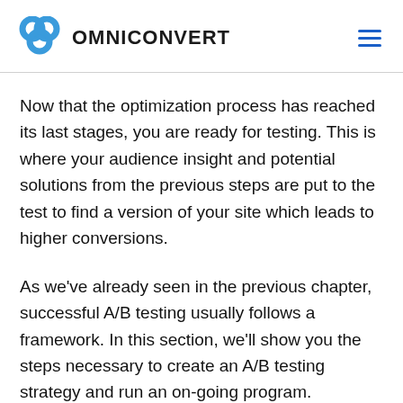OMNICONVERT
Now that the optimization process has reached its last stages, you are ready for testing. This is where your audience insight and potential solutions from the previous steps are put to the test to find a version of your site which leads to higher conversions.
As we've already seen in the previous chapter, successful A/B testing usually follows a framework. In this section, we'll show you the steps necessary to create an A/B testing strategy and run an on-going program.